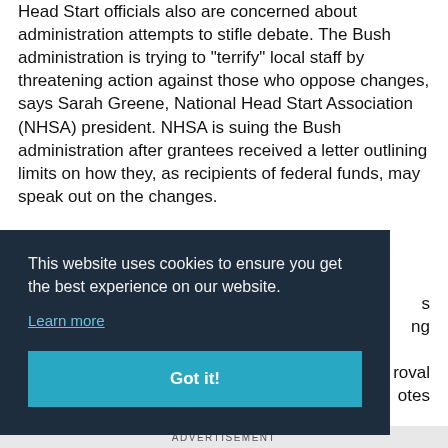Head Start officials also are concerned about administration attempts to stifle debate. The Bush administration is trying to "terrify" local staff by threatening action against those who oppose changes, says Sarah Greene, National Head Start Association (NHSA) president. NHSA is suing the Bush administration after grantees received a letter outlining limits on how they, as recipients of federal funds, may speak out on the changes.
s ng roval otes
[Figure (other): Cookie consent banner overlay with dark blue background. Text reads: 'This website uses cookies to ensure you get the best experience on our website.' with a 'Learn more' link and a cyan 'Got it!' button.]
ADVERTISEMENT